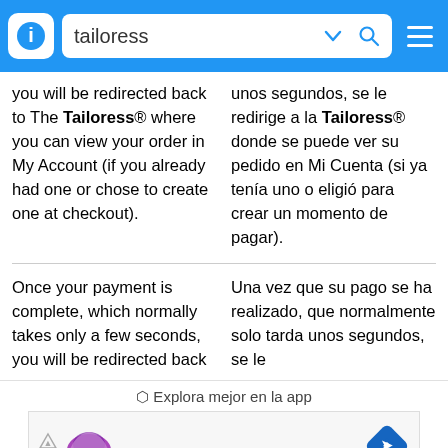tailoress
you will be redirected back to The Tailoress® where you can view your order in My Account (if you already had one or chose to create one at checkout).
unos segundos, se le redirige a la Tailoress® donde se puede ver su pedido en Mi Cuenta (si ya tenía uno o eligió para crear un momento de pagar).
Once your payment is complete, which normally takes only a few seconds, you will be redirected back
Una vez que su pago se ha realizado, que normalmente solo tarda unos segundos, se le
⬡ Explora mejor en la app